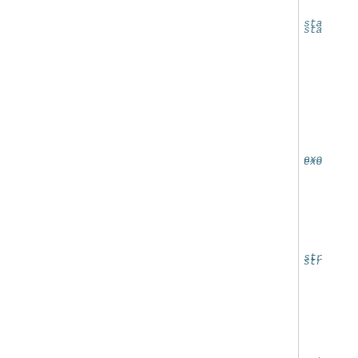sta
exo
stra
entr
offs
"""
# De
if s
# De
if